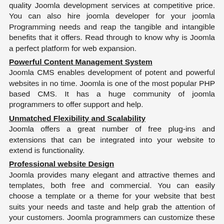quality Joomla development services at competitive price. You can also hire joomla developer for your joomla Programming needs and reap the tangible and intangible benefits that it offers. Read through to know why is Joomla a perfect platform for web expansion.
Powerful Content Management System
Joomla CMS enables development of potent and powerful websites in no time. Joomla is one of the most popular PHP based CMS. It has a huge community of joomla programmers to offer support and help.
Unmatched Flexibility and Scalability
Joomla offers a great number of free plug-ins and extensions that can be integrated into your website to extend is functionality.
Professional website Design
Joomla provides many elegant and attractive themes and templates, both free and commercial. You can easily choose a template or a theme for your website that best suits your needs and taste and help grab the attention of your customers. Joomla programmers can customize these templates or can even design a new one specifically for your business.
Multiple Language Support
Joomla offers support for multiple languages. Therefore